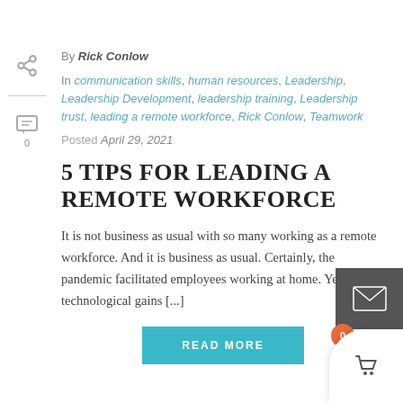By Rick Conlow
In communication skills, human resources, Leadership, Leadership Development, leadership training, Leadership trust, leading a remote workforce, Rick Conlow, Teamwork
Posted April 29, 2021
5 TIPS FOR LEADING A REMOTE WORKFORCE
It is not business as usual with so many working as a remote workforce. And it is business as usual. Certainly, the pandemic facilitated employees working at home. Yet with technological gains [...]
READ MORE